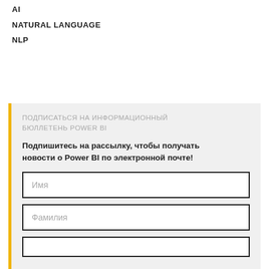AI
NATURAL LANGUAGE
NLP
ПОДПИСАТЬСЯ НА ИНФОРМАЦИОННЫЙ БЮЛЛЕТЕНЬ POWER BI
Подпишитесь на рассылку, чтобы получать новости о Power BI по электронной почте!
Имя
Фамилия